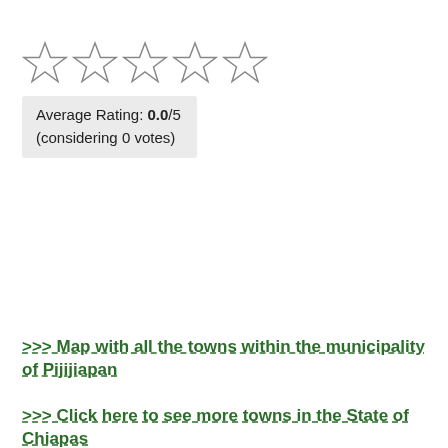[Figure (other): Five empty star rating icons in a row]
Average Rating: 0.0/5
(considering 0 votes)
>>> Map with all the towns within the municipality of Pijijiapan
>>> Click here to see more towns in the State of Chiapas